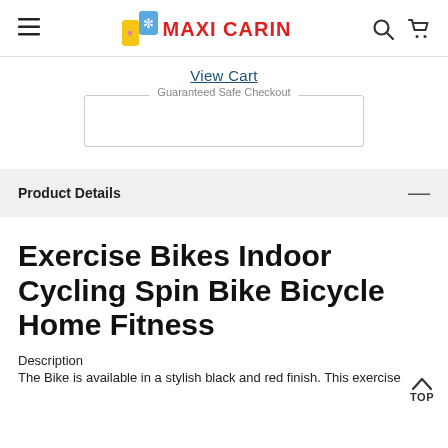MAXI CARIN
View Cart
Guaranteed Safe Checkout
Product Details
Exercise Bikes Indoor Cycling Spin Bike Bicycle Home Fitness
Description
The Bike is available in a stylish black and red finish. This exercise